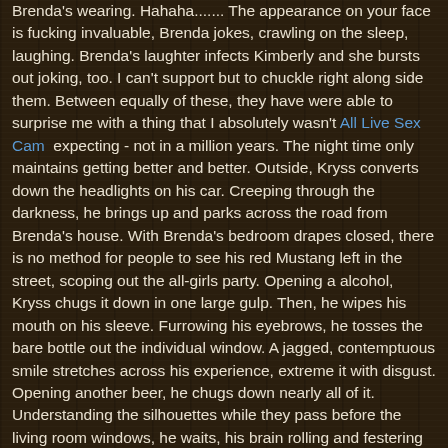Brenda's wearing. Hahaha....... The appearance on your face is fucking invaluable, Brenda jokes, crawling on the sleep, laughing. Brenda's laughter infects Kimberly and she bursts out joking, too. I can't support but to chuckle right along side them. Between equally of these, they have were able to surprise me with a thing that I absolutely wasn't All Live Sex Cam expecting - not in a million years. The night time only maintains getting better and better. Outside, Kryss converts down the headlights on his car. Creeping through the darkness, he brings up and parks across the road from Brenda's house. With Brenda's bedroom drapes closed, there is no method for people to see his red Mustang left in the street, scoping out the all-girls party. Opening a alcohol, Kryss chugs it down in one large gulp. Then, he wipes his mouth on his sleeve. Furrowing his eyebrows, he tosses the bare bottle out the individual window. A jagged, contemptuous smile stretches across his experience, extreme it with disgust. Opening another beer, he chugs down nearly all of it. Understanding the silhouettes while they pass before the living room windows, he waits, his brain rolling and festering with intoxicated thoughts.